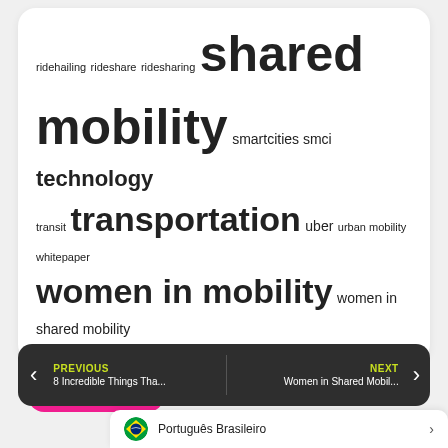ridehailing rideshare ridesharing shared mobility smartcities smci technology transit transportation uber urban mobility whitepaper women in mobility women in shared mobility
CONTACT US
BECOME A PARTNER
JOIN A COURSE
PREVIOUS 8 Incredible Things Tha...
NEXT Women in Shared Mobil...
Português Brasileiro